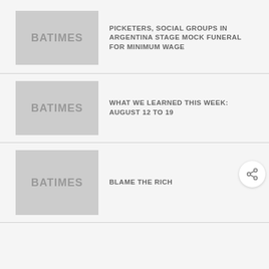[Figure (illustration): Gray placeholder image with text BATIMES]
PICKETERS, SOCIAL GROUPS IN ARGENTINA STAGE MOCK FUNERAL FOR MINIMUM WAGE
[Figure (illustration): Gray placeholder image with text BATIMES]
WHAT WE LEARNED THIS WEEK: AUGUST 12 TO 19
[Figure (illustration): Gray placeholder image with text BATIMES]
BLAME THE RICH